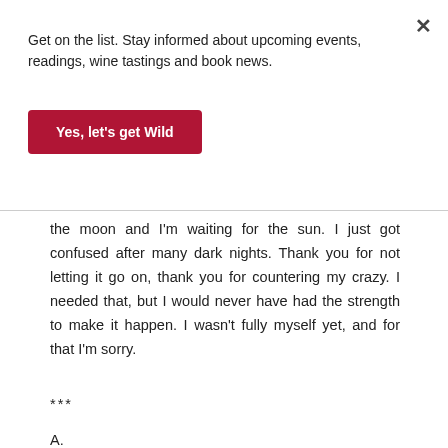Get on the list. Stay informed about upcoming events, readings, wine tastings and book news.
Yes, let's get Wild
the moon and I'm waiting for the sun. I just got confused after many dark nights. Thank you for not letting it go on, thank you for countering my crazy. I needed that, but I would never have had the strength to make it happen. I wasn't fully myself yet, and for that I'm sorry.
***
A.
I don't know why I'm lumping your story with